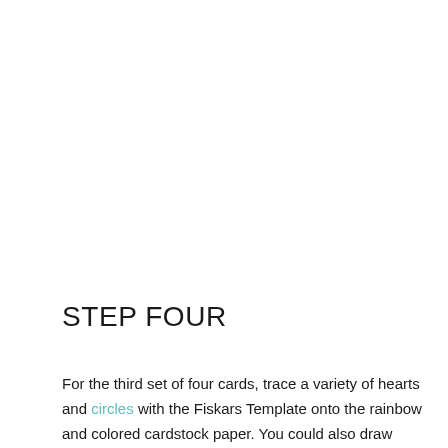STEP FOUR
For the third set of four cards, trace a variety of hearts and circles with the Fiskars Template onto the rainbow and colored cardstock paper. You could also draw your